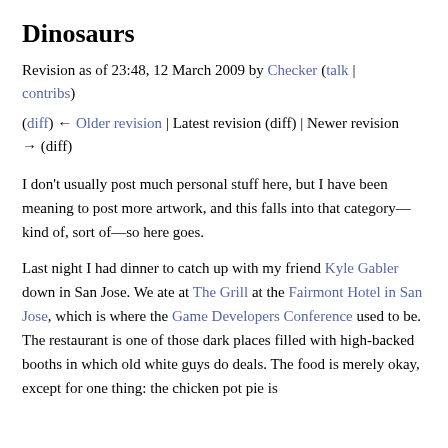Dinosaurs
Revision as of 23:48, 12 March 2009 by Checker (talk | contribs)
(diff) ← Older revision | Latest revision (diff) | Newer revision → (diff)
I don't usually post much personal stuff here, but I have been meaning to post more artwork, and this falls into that category—kind of, sort of—so here goes.
Last night I had dinner to catch up with my friend Kyle Gabler down in San Jose. We ate at The Grill at the Fairmont Hotel in San Jose, which is where the Game Developers Conference used to be. The restaurant is one of those dark places filled with high-backed booths in which old white guys do deals. The food is merely okay, except for one thing: the chicken pot pie is